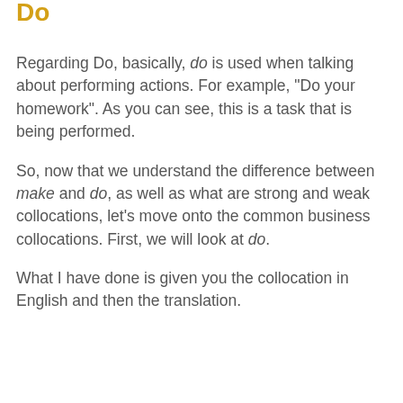Do
Regarding Do, basically, do is used when talking about performing actions. For example, “Do your homework”. As you can see, this is a task that is being performed.
So, now that we understand the difference between make and do, as well as what are strong and weak collocations, let’s move onto the common business collocations. First, we will look at do.
What I have done is given you the collocation in English and then the translation.